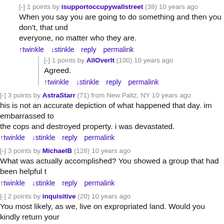[-] 1 points by isupportoccupywallstreet (38) 10 years ago
When you say you are going to do something and then you don't, that und everyone, no matter who they are.
twinkle  stinkle  reply  permalink
[-] 1 points by AllOverIt (100) 10 years ago
Agreed.
twinkle  stinkle  reply  permalink
[-] 3 points by AstraStarr (71) from New Paltz, NY 10 years ago
his is not an accurate depiction of what happened that day. im embarrassed to the cops and destroyed property. i was devastated.
twinkle  stinkle  reply  permalink
[-] 3 points by MichaelB (128) 10 years ago
What was actually accomplished? You showed a group that had been helpful t
twinkle  stinkle  reply  permalink
[-] 2 points by inquisitive (20) 10 years ago
You most likely, as we, live on expropriated land. Would you kindly return your people?
twinkle  stinkle  reply  permalink
[-] 2 points by BrianMid (132) 10 years ago
Does this mean that OWS supports all expropriation of land from the native
twinkle  stinkle  reply  permalink